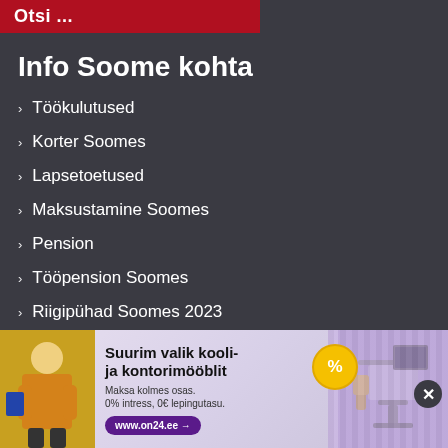Otsi ...
Info Soome kohta
Töökulutused
Korter Soomes
Lapsetoetused
Maksustamine Soomes
Pension
Tööpension Soomes
Riigipühad Soomes 2023
Riigipühad Soomes 2022
Riigipühad Soomes 2021
Palgakalkulaator
[Figure (infographic): Advertisement banner: Suurim valik kooli- ja kontorimööblit. Maksa kolmes osas. 0% intress, 0€ lepingutasu. www.on24.ee]